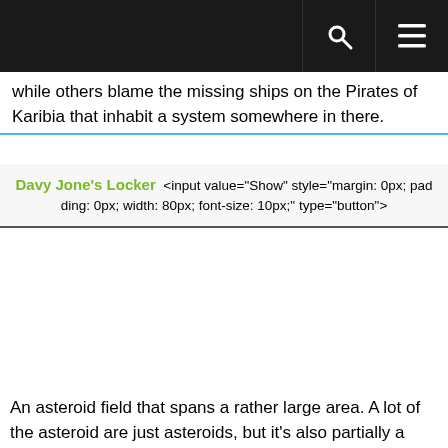while others blame the missing ships on the Pirates of Karibia that inhabit a system somewhere in there.
Davy Jone's Locker  <input value="Show" style="margin: 0px; padding: 0px; width: 80px; font-size: 10px;" onclick="if (this.parentNode.parentNode.getElementsByTagName('div')[1].getElementsByTagName('div')[0].style.display != '') { this.parentNode.parentNode.getElementsByTagName('div')[1].getElementsByTagName('div')[0].style.display = '';this.innerText = ''; this.value = 'Hide'; } else { this.parentNode.parentNode.getElementsByTagName('div')[1].getElementsByTagName('div')[0].style.display = 'none'; this.value = 'Show';}" type="button">
An asteroid field that spans a rather large area. A lot of the asteroid are just asteroids, but it's also partially a ship graveyard. No one is entirely sure where most of the ships are from. Not much exploration has been done in the empty space of the Locker, not because of some irrational fear of monsters, unless you call the Bonecrusher Pirates monsters,